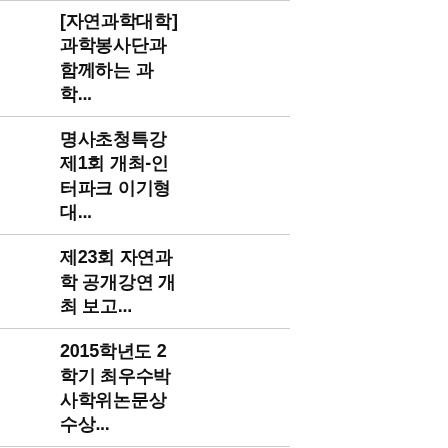[자연과학대학] 과학봉사단과 함께하는 과학...
명사초청특강 제1회 개최-인터파크 이기형 대...
제23회 자연과학 공개강연 개최 보고...
2015학년도 2학기 최우수박사학위논문상 수상...
학부모 초청행사 - 교수님과의 미니토크콘서...
2015학년도 1학기 자연과학대학 우수강의 상...